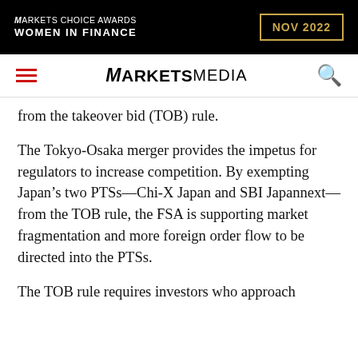[Figure (other): Markets Choice Awards Women in Finance NOV 2022 banner advertisement on black background with gold border date box]
MARKETS MEDIA navigation header with hamburger menu and search icon
from the takeover bid (TOB) rule.
The Tokyo-Osaka merger provides the impetus for regulators to increase competition. By exempting Japan’s two PTSs—Chi-X Japan and SBI Japannext—from the TOB rule, the FSA is supporting market fragmentation and more foreign order flow to be directed into the PTSs.
The TOB rule requires investors who approach